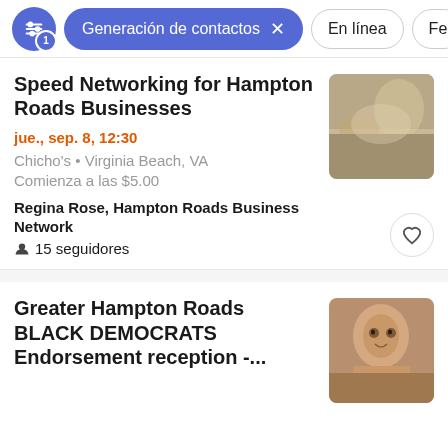Generación de contactos  En línea  Fe
Speed Networking for Hampton Roads Businesses
jue., sep. 8, 12:30
Chicho's • Virginia Beach, VA
Comienza a las $5.00
Regina Rose, Hampton Roads Business Network
15 seguidores
Greater Hampton Roads BLACK DEMOCRATS Endorsement reception -...